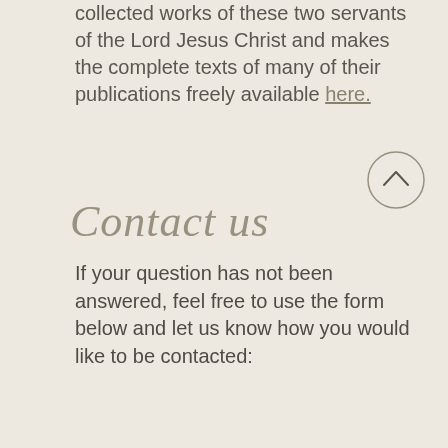collected works of these two servants of the Lord Jesus Christ and makes the complete texts of many of their publications freely available here.
Contact us
If your question has not been answered, feel free to use the form below and let us know how you would like to be contacted:
Name *
Email *